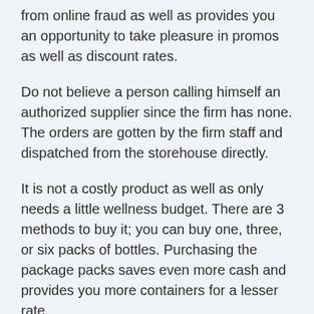from online fraud as well as provides you an opportunity to take pleasure in promos as well as discount rates.
Do not believe a person calling himself an authorized supplier since the firm has none. The orders are gotten by the firm staff and dispatched from the storehouse directly.
It is not a costly product as well as only needs a little wellness budget. There are 3 methods to buy it; you can buy one, three, or six packs of bottles. Purchasing the package packs saves even more cash and provides you more containers for a lesser rate.
Here are the current rates details